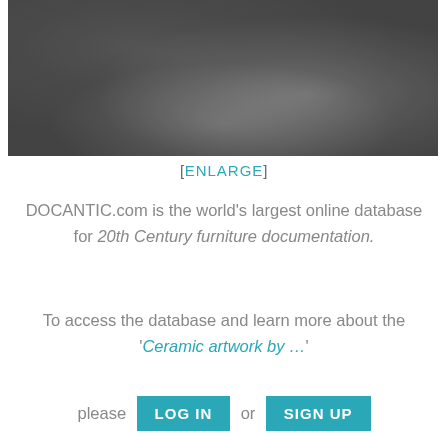[Figure (photo): Blurry dark metallic surface image, shades of gray]
[ENLARGE]
DOCANTIC.com is the world's largest online database for 20th Century furniture documentation.
To access the database and learn more about the 'Ceramic artwork by ...' please LOG IN or SIGN UP